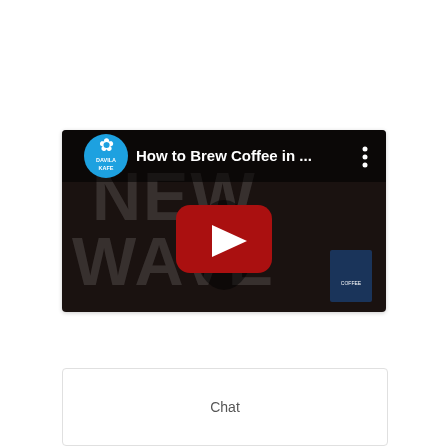[Figure (screenshot): YouTube video thumbnail showing 'How to Brew Coffee in ...' with Davila Kafe channel logo (blue circle with hibiscus flower) in top left, a three-dot menu icon in top right, a dark background with large text reading 'NEW WAVE' partially visible, and a red YouTube play button overlay in the center.]
Chat